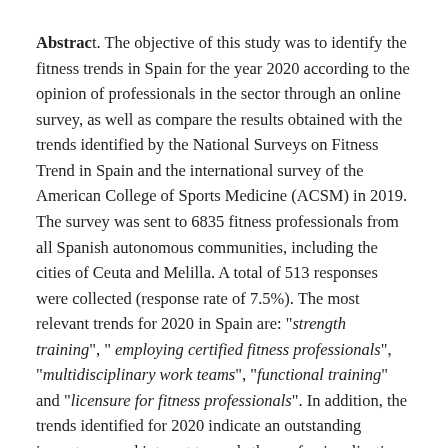Abstract. The objective of this study was to identify the fitness trends in Spain for the year 2020 according to the opinion of professionals in the sector through an online survey, as well as compare the results obtained with the trends identified by the National Surveys on Fitness Trend in Spain and the international survey of the American College of Sports Medicine (ACSM) in 2019. The survey was sent to 6835 fitness professionals from all Spanish autonomous communities, including the cities of Ceuta and Melilla. A total of 513 responses were collected (response rate of 7.5%). The most relevant trends for 2020 in Spain are: "strength training", " employing certified fitness professionals", "multidisciplinary work teams", "functional training" and "licensure for fitness professionals". In addition, the trends identified for 2020 indicate an outstanding importance and interest towards the professionalization of fitness sector and the health-related fitness . The results largely showed a reproduction of the top